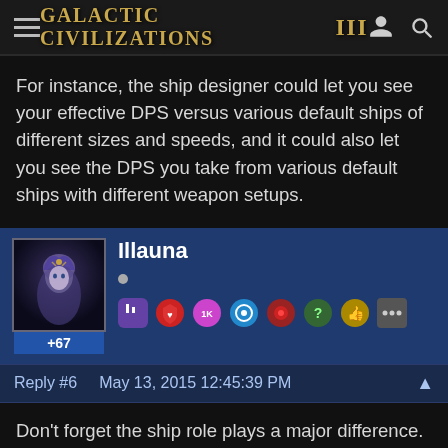Galactic Civilizations III
For instance, the ship designer could let you see your effective DPS versus various default ships of different sizes and speeds, and it could also let you see the DPS you take from various default ships with different weapon setups.
Illauna +67
Reply #6   May 13, 2015 12:45:39 PM
Don't forget the ship role plays a major difference. I've illustrated a few times on my stream that a battle where I had better values ended in defeat the enemy had Escorts that destroyed all my assault ships first then escorts. Had I brought a better fleet composition I could have easily